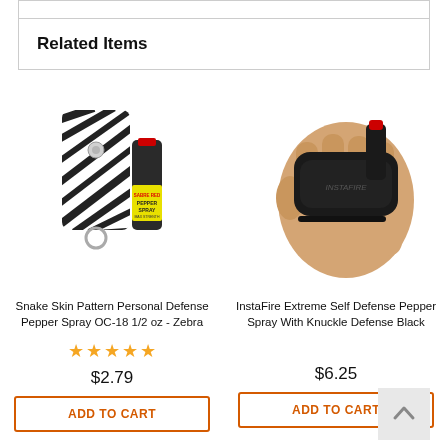Related Items
[Figure (photo): Zebra pattern pepper spray keychain case with small pepper spray bottle beside it]
Snake Skin Pattern Personal Defense Pepper Spray OC-18 1/2 oz - Zebra
★★★★★
$2.79
ADD TO CART
[Figure (photo): Hand holding InstaFire black knuckle defense pepper spray device with red cap]
InstaFire Extreme Self Defense Pepper Spray With Knuckle Defense Black
$6.25
ADD TO CART